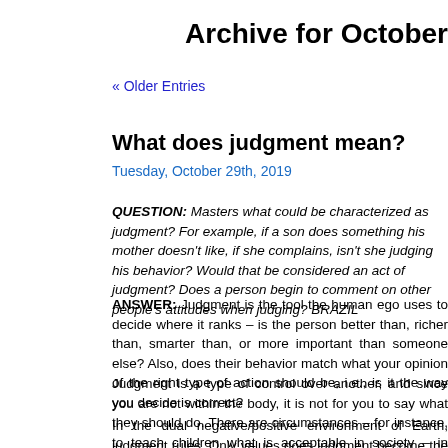Archive for October
« Older Entries
What does judgment mean?
Tuesday, October 29th, 2019
QUESTION: Masters what could be characterized as judgment? For example, if a son does something his mother doesn't like, if she complains, isn't she judging his behavior? Would that be considered an act of judgment? Does a person begin to comment on other people's attitudes when judging? BRAZIL
ANSWER: Judgment is the tool the human ego uses to decide where it ranks – is the person better than, richer than, smarter than, or more important than someone else? Also, does their behavior match what your opinion of the right type of action should be, i.e., is it the way you decide is correct?
Judgment is a type of control over another, and since you are not within their body, it is not for you to say what they should do. There are circumstances – for instance, to teach children what is acceptable in society – in which judging someone's current behavior in order to correct it takes place; however, it is not to control but rather to inform, and the one being judged can accept the criticism or ignore it.
In the dual negative/positive environment of Earth, judgment rules. Only when one begins to examine values does judgment become the enemy. You then recognize that each